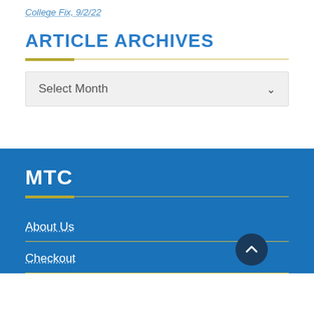College Fix, 9/2/22
ARTICLE ARCHIVES
Select Month
MTC
About Us
Checkout